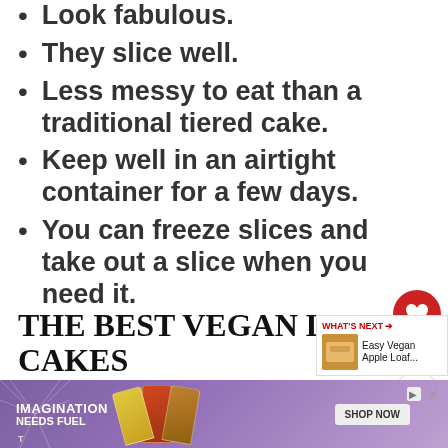Look fabulous.
They slice well.
Less messy to eat than a traditional tiered cake.
Keep well in an airtight container for a few days.
You can freeze slices and take out a slice when you need it.
THE BEST VEGAN LOAF CAKES
[Figure (screenshot): What's Next panel showing Easy Vegan Apple Loaf... with thumbnail]
[Figure (photo): Advertisement banner: IMAGINATION NEEDS FUEL - Clif protein bars with SHOP NOW button]